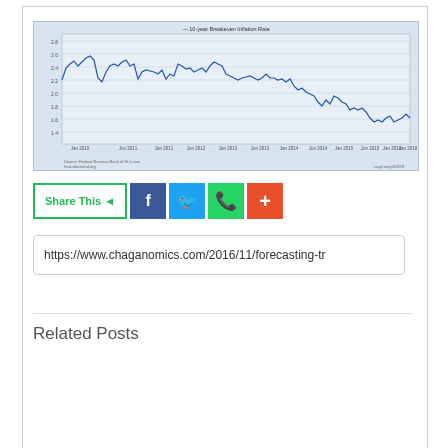[Figure (continuous-plot): Line chart showing the 10-year Breakeven Inflation Rate from approximately Jan 2010 to Jan 2016. The rate starts around 2.4%, peaks near 2.7%, then gradually declines to around 1.5-1.6% by 2016, with a notable drop in 2014-2015.]
Share This
https://www.chaganomics.com/2016/11/forecasting-tr
Related Posts